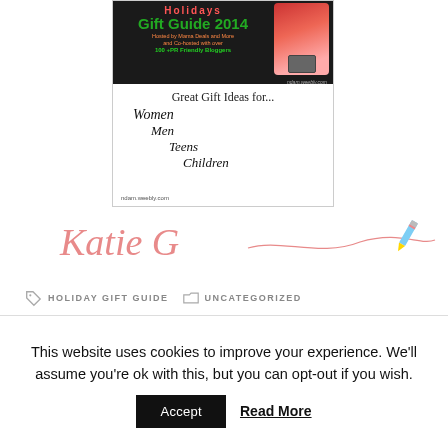[Figure (illustration): Holiday Gift Guide 2014 promotional banner with woman in Santa hat, laptop, categories: Women, Men, Teens, Children, hosted at ndam.weebly.com]
[Figure (illustration): Handwritten-style signature 'Katie G' in pink/red cursive with a decorative wavy line and pencil icon]
HOLIDAY GIFT GUIDE  UNCATEGORIZED
This website uses cookies to improve your experience. We'll assume you're ok with this, but you can opt-out if you wish.
Accept  Read More